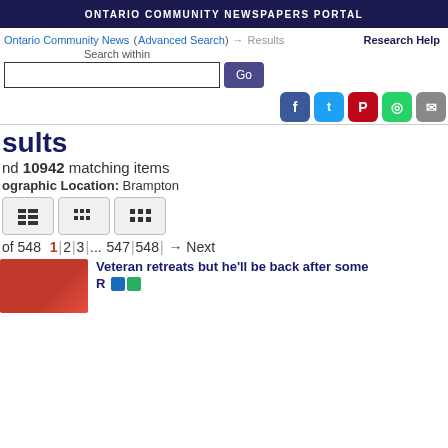ONTARIO COMMUNITY NEWSPAPERS PORTAL
Ontario Community News (Advanced Search) → Results   Research Help
Search within
Go
Results
nd 10942 matching items
ographic Location: Brampton
of 548   1|2|3|...|547|548|  → Next
Veteran retreats but he'll be back after some R